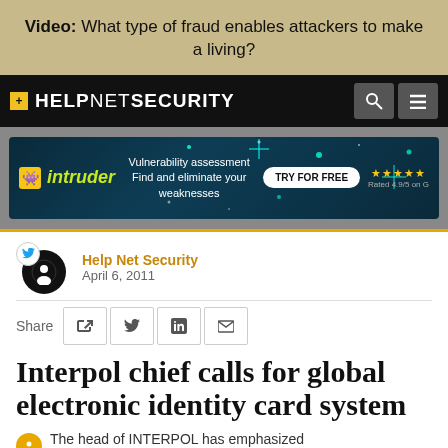Video: What type of fraud enables attackers to make a living?
[Figure (logo): HelpNet Security navigation bar with yellow plus logo, search icon and hamburger menu on black background]
[Figure (screenshot): Intruder advertisement banner: 'Vulnerability assessment Find and eliminate your weaknesses' with TRY FOR FREE button and 5-star rating on dark starfield background]
Help Net Security
April 6, 2011
Share
Interpol chief calls for global electronic identity card system
The head of INTERPOL has emphasized